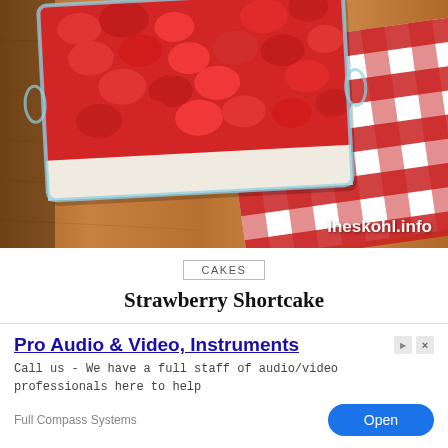[Figure (photo): Top-down photo of a glass baking dish filled with strawberry shortcake topping (red glazed strawberries over white cream) sitting on a wooden table with a red and white checkered tablecloth. Watermark reads 'Ineskohl.info' in white bold text at bottom right.]
CAKES
Strawberry Shortcake
INGREDIENTS 1 liter of whipping cream (it must be freezing) 200 grams sugar 1/2 sachet of baking powder 1/5 kilo of fresh
[Figure (screenshot): Advertisement overlay for 'Pro Audio & Video, Instruments' by Full Compass Systems. Features a blue underlined title, description text 'Call us - We have a full staff of audio/video professionals here to help', brand name 'Full Compass Systems', and a blue 'Open' button.]